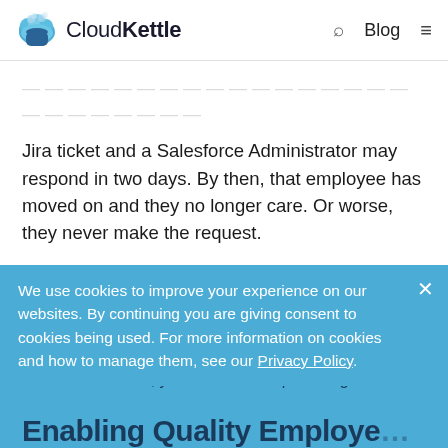CloudKettle — Blog
Jira ticket and a Salesforce Administrator may respond in two days. By then, that employee has moved on and they no longer care. Or worse, they never make the request.
In this latter scenario, the friction of making the request and waiting for the answer overrides their innate curiosity. The busier the team member, the less likely they are to scratch that itch.
If you're a member of the leadership team at a B2B SaaS organization, you should be asking yourself:
Can our employees satisfy their curiosities in the time it takes to finish a cup of coffee?
If the answer is no, you'll want to keep reading.
We use cookies to improve your experience on our websites. By continuing you are giving consent to cookies being used. For more information on cookies and how to manage them, see our Privacy Policy.
Enabling Quality Employee…